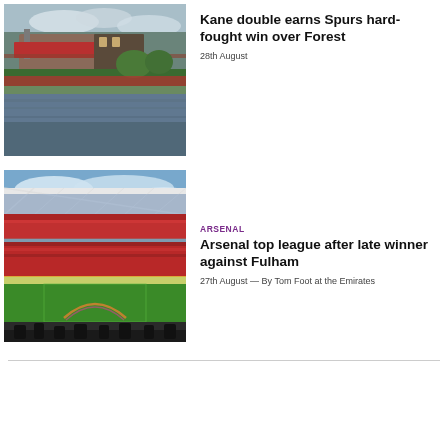[Figure (photo): Nottingham Forest stadium exterior with fans and river in foreground, trees and cloudy sky]
Kane double earns Spurs hard-fought win over Forest
28th August
[Figure (photo): Arsenal Emirates Stadium interior panoramic view with full crowd and green pitch]
ARSENAL
Arsenal top league after late winner against Fulham
27th August — By Tom Foot at the Emirates